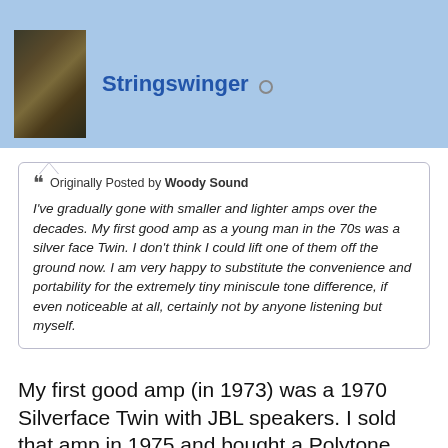Stringswinger
Originally Posted by Woody Sound
I've gradually gone with smaller and lighter amps over the decades. My first good amp as a young man in the 70s was a silver face Twin. I don't think I could lift one of them off the ground now. I am very happy to substitute the convenience and portability for the extremely tiny miniscule tone difference, if even noticeable at all, certainly not by anyone listening but myself.
My first good amp (in 1973) was a 1970 Silverface Twin with JBL speakers. I sold that amp in 1975 and bought a Polytone (after witnessing Joe Pass play a gig at an upstairs NYC Nightclub and leave the gig with his amp in one hand and guitar in the other hand). I became a huge fan of a Polytone and bought…